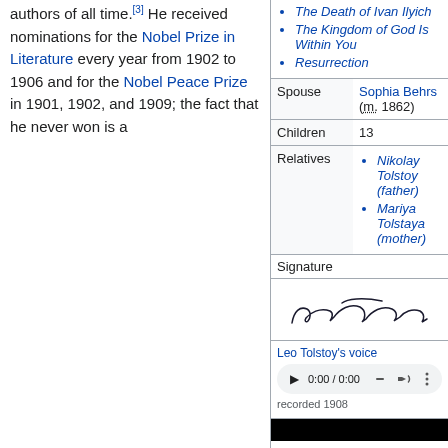authors of all time.[3] He received nominations for the Nobel Prize in Literature every year from 1902 to 1906 and for the Nobel Peace Prize in 1901, 1902, and 1909; the fact that he never won is a
| Notable works | The Death of Ivan Ilyich
The Kingdom of God Is Within You
Resurrection |
| Spouse | Sophia Behrs (m. 1862) |
| Children | 13 |
| Relatives | Nikolay Tolstoy (father)
Mariya Tolstaya (mother) |
| Signature | [signature image] |
|  | Leo Tolstoy's voice
[audio player]
recorded 1908 |
|  | [video bar] |